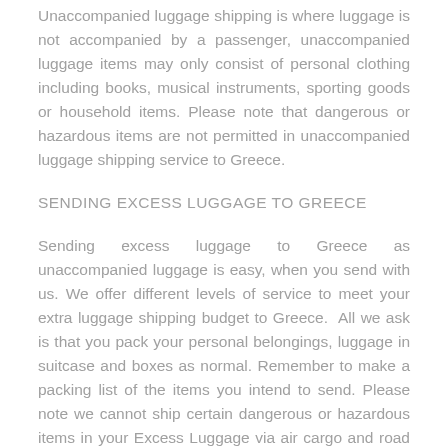Unaccompanied luggage shipping is where luggage is not accompanied by a passenger, unaccompanied luggage items may only consist of personal clothing including books, musical instruments, sporting goods or household items. Please note that dangerous or hazardous items are not permitted in unaccompanied luggage shipping service to Greece.
SENDING EXCESS LUGGAGE TO GREECE
Sending excess luggage to Greece as unaccompanied luggage is easy, when you send with us. We offer different levels of service to meet your extra luggage shipping budget to Greece.  All we ask is that you pack your personal belongings, luggage in suitcase and boxes as normal. Remember to make a packing list of the items you intend to send. Please note we cannot ship certain dangerous or hazardous items in your Excess Luggage via air cargo and road freight in your unaccompanied luggage as excess luggage by air express luggage courier